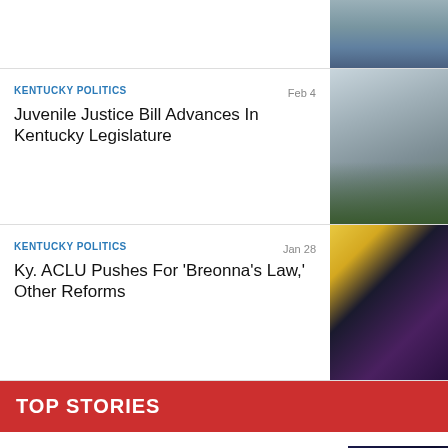[Figure (photo): Partial photo of government building at top right]
KENTUCKY POLITICS
Feb 4
Juvenile Justice Bill Advances In Kentucky Legislature
[Figure (photo): Kentucky state capitol building]
KENTUCKY POLITICS
Jan 28
Ky. ACLU Pushes For 'Breonna's Law,' Other Reforms
[Figure (photo): Protest with Breonna Taylor mural portrait]
TOP STORIES
Does thunder scare your dog? We have some ways you can help
[Figure (photo): Lightning bolt photo on dark sky]
Louisville's WorldFest returns to the Belvedere
[Figure (photo): WorldFest photo]